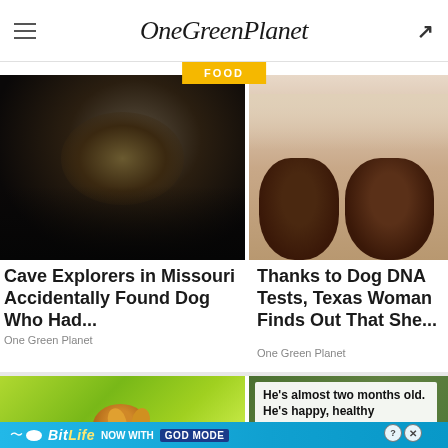OneGreenPlanet
FOOD
[Figure (photo): Dark cave or water scene, possibly a dog or animal emerging from dark water]
[Figure (photo): Two brown/brindle puppies sitting together on a light background]
Cave Explorers in Missouri Accidentally Found Dog Who Had...
One Green Planet
Thanks to Dog DNA Tests, Texas Woman Finds Out That She...
One Green Planet
[Figure (photo): Corgi or beagle dog running through bright green grass field]
[Figure (photo): Green outdoor background with white text overlay reading: He's almost two months old. He's happy, healthy]
He's almost two months old. He's happy, healthy
[Figure (screenshot): BitLife advertisement banner — NOW WITH GOD MODE, showing cartoon thumbs up and pointing hand on cyan/blue background]